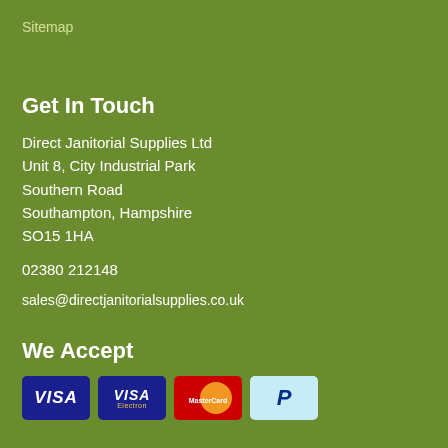Sitemap
Get In Touch
Direct Janitorial Supplies Ltd
Unit 8, City Industrial Park
Southern Road
Southampton, Hampshire
SO15 1HA
02380 212148
sales@directjanitorialsupplies.co.uk
We Accept
[Figure (logo): Payment method logos: Visa, Visa Electron, MasterCard, PayPal]